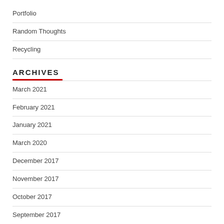Portfolio
Random Thoughts
Recycling
ARCHIVES
March 2021
February 2021
January 2021
March 2020
December 2017
November 2017
October 2017
September 2017